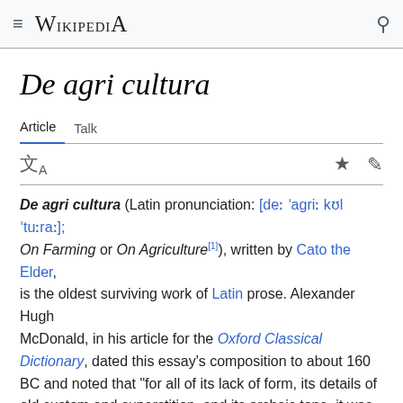≡ WIKIPEDIA 🔍
De agri cultura
Article   Talk
De agri cultura (Latin pronunciation: [deː ˈagriː kʊlˈtuːraː]; On Farming or On Agriculture[1]), written by Cato the Elder, is the oldest surviving work of Latin prose. Alexander Hugh McDonald, in his article for the Oxford Classical Dictionary, dated this essay's composition to about 160 BC and noted that "for all of its lack of form, its details of old custom and superstition, and its archaic tone, it was an up-to-date directed from his own knowledge and experience to the new capitalistic farming."[2] Cato was